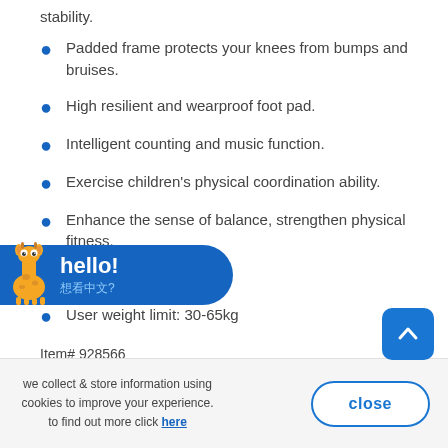stability.
Padded frame protects your knees from bumps and bruises.
High resilient and wearproof foot pad.
Intelligent counting and music function.
Exercise children's physical coordination ability.
Enhance the sense of balance, strengthen physical fitness.
…nd outdoor use.
User weight limit: 30-65kg
Item# 928566
we collect & store information using cookies to improve your experience. to find out more click here